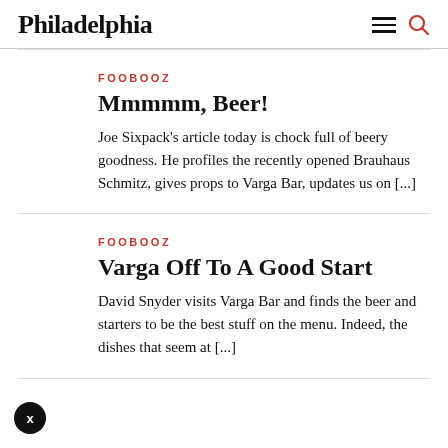Philadelphia
FOOBOOZ
Mmmmm, Beer!
Joe Sixpack's article today is chock full of beery goodness. He profiles the recently opened Brauhaus Schmitz, gives props to Varga Bar, updates us on [...]
FOOBOOZ
Varga Off To A Good Start
David Snyder visits Varga Bar and finds the beer and starters to be the best stuff on the menu. Indeed, the dishes that seem at [...]